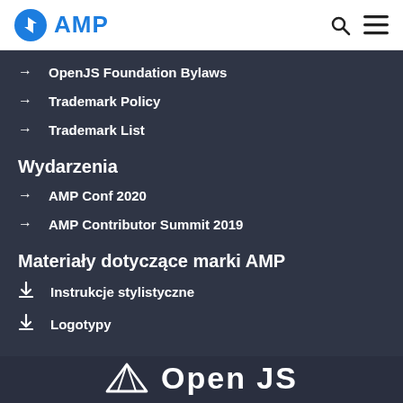AMP
OpenJS Foundation Bylaws
Trademark Policy
Trademark List
Wydarzenia
AMP Conf 2020
AMP Contributor Summit 2019
Materiały dotyczące marki AMP
Instrukcje stylistyczne
Logotypy
[Figure (logo): OpenJS logo at bottom of page]